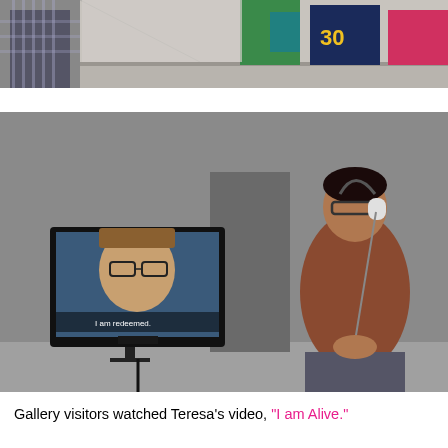[Figure (photo): Top portion of a photo showing a woman in a plaid dress standing in an art gallery hallway with colorful artwork hanging on the walls behind her.]
[Figure (photo): Gallery visitor wearing headphones stands watching a wall-mounted television screen displaying a person speaking with subtitle text 'I am redeemed.' The viewer is a woman in a brown top viewed in profile.]
Gallery visitors watched Teresa's video, "I am Alive."